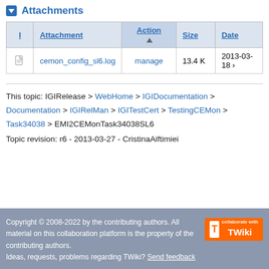Attachments
| I | Attachment | Action | Size | Date |
| --- | --- | --- | --- | --- |
| [icon] | cemon_config_sl6.log | manage | 13.4 K | 2013-03-18 |
This topic: IGIRelease > WebHome > IGIDocumentation > Documentation > IGIRelMan > IGITestCert > TestingCEMon > Task34038 > EMI2CEMonTask34038SL6
Topic revision: r6 - 2013-03-27 - CristinaAiftimiei
Copyright © 2008-2022 by the contributing authors. All material on this collaboration platform is the property of the contributing authors. Ideas, requests, problems regarding TWiki? Send feedback